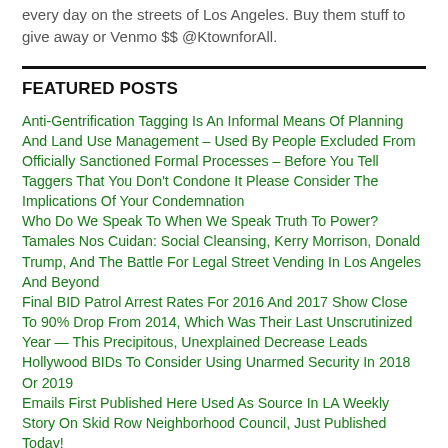every day on the streets of Los Angeles. Buy them stuff to give away or Venmo $$ @KtownforAll.
FEATURED POSTS
Anti-Gentrification Tagging Is An Informal Means Of Planning And Land Use Management – Used By People Excluded From Officially Sanctioned Formal Processes – Before You Tell Taggers That You Don't Condone It Please Consider The Implications Of Your Condemnation
Who Do We Speak To When We Speak Truth To Power?
Tamales Nos Cuidan: Social Cleansing, Kerry Morrison, Donald Trump, And The Battle For Legal Street Vending In Los Angeles And Beyond
Final BID Patrol Arrest Rates For 2016 And 2017 Show Close To 90% Drop From 2014, Which Was Their Last Unscrutinized Year — This Precipitous, Unexplained Decrease Leads Hollywood BIDs To Consider Using Unarmed Security In 2018 Or 2019
Emails First Published Here Used As Source In LA Weekly Story On Skid Row Neighborhood Council, Just Published Today!
VICTORY!! All Los Angeles BID Security Patrols To Register With Police Commission Per City Attorney, BID Patrol Excessive Force Complaint Under Investigation By LAPD; Direct Result of MK.Org